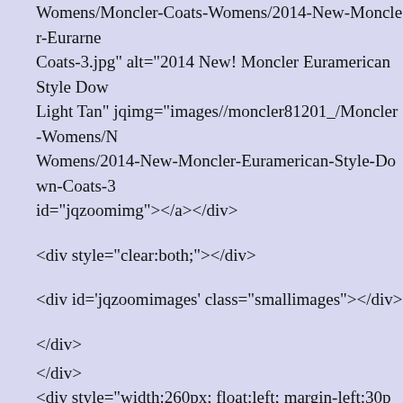Womens/Moncler-Coats-Womens/2014-New-Moncler-Euramerican-Style-Down-Coats-3.jpg" alt="2014 New! Moncler Euramerican Style Down Light Tan" jqimg="images//moncler81201_/Moncler-Womens/Womens/2014-New-Moncler-Euramerican-Style-Down-Coats-3 id="jqzoomimg"></a></div>
<div style="clear:both;"></div>
<div id='jqzoomimages' class="smallimages"></div>
</div>
</div>
<div style="width:260px; float:left; margin-left:30px; margin-to column'>
<div itemprop="name" style="font-weight:bold; padding-bottom size:14px;">2014 New! Moncler Euramerican Style Down Coa Tan</div>
<span id="productPrices" class="productGeneral">
<s class="productPriceDiscount">$1,071.00 </s><s>8...</s>